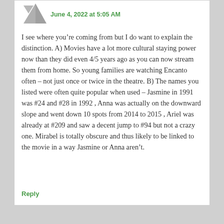June 4, 2022 at 5:05 AM
I see where you’re coming from but I do want to explain the distinction. A) Movies have a lot more cultural staying power now than they did even 4/5 years ago as you can now stream them from home. So young families are watching Encanto often – not just once or twice in the theatre. B) The names you listed were often quite popular when used – Jasmine in 1991 was #24 and #28 in 1992 , Anna was actually on the downward slope and went down 10 spots from 2014 to 2015 , Ariel was already at #209 and saw a decent jump to #94 but not a crazy one. Mirabel is totally obscure and thus likely to be linked to the movie in a way Jasmine or Anna aren’t.
Reply